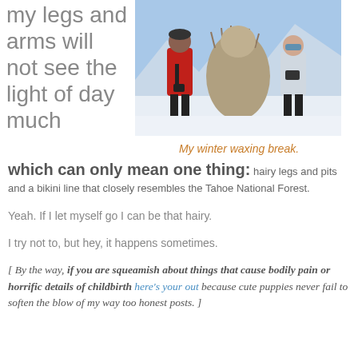my legs and arms will not see the light of day much
[Figure (photo): Two people in winter clothing standing with a large furry animal (likely a yak or camel) in a snowy mountain setting]
My winter waxing break.
which can only mean one thing: hairy legs and pits and a bikini line that closely resembles the Tahoe National Forest.
Yeah. If I let myself go I can be that hairy.
I try not to, but hey, it happens sometimes.
[ By the way, if you are squeamish about things that cause bodily pain or horrific details of childbirth here's your out because cute puppies never fail to soften the blow of my way too honest posts. ]